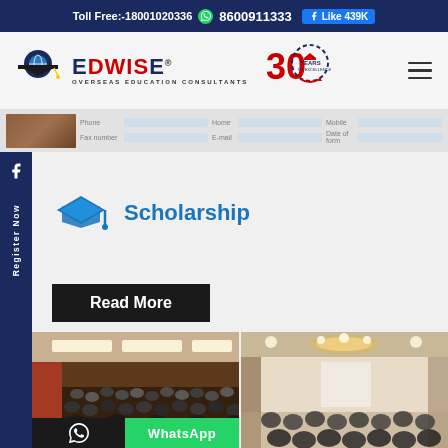Toll Free:-18001020336 8600911333 Like 439K
[Figure (logo): EdwisE Overseas Education Consultants logo with 30 Years of Excellence badge]
[Figure (screenshot): Partial blurred contact form with Phone, Home, Mobile, E-mail, Fax number, Date of form fields]
Scholarship
Read More
[Figure (photo): Two photos of education fair/seminar events showing crowds of students in auditorium halls]
WhatsApp